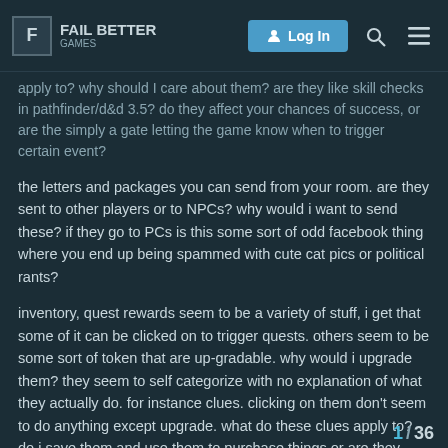FAIL BETTER GAMES — Log In
apply to? why should I care about them? are they like skill checks in pathfinder/d&d 3.5? do they affect your chances of success, or are the simply a gate letting the game know when to trigger certain event?
the letters and packages you can send from your room. are they sent to other players or to NPCs? why would i want to send these? if they go to PCs is this some sort of odd facebook thing where you end up being spammed with cute cat pics or political rants?
inventory, quest rewards seem to be a variety of stuff, i get that some of it can be clicked on to trigger quests. others seem to be some sort of token that are up-gradable. why would i upgrade them? they seem to self categorize with no explanation of what they actually do. for instance clues. clicking on them don't seem to do anything except upgrade. what do these clues apply to? do i save them and use them to purchase things or are they vendor trash?
1 / 36